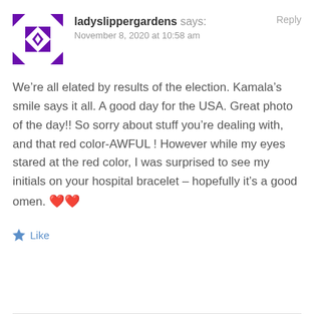[Figure (illustration): Purple geometric quilt-pattern avatar icon with diamond/triangle shapes on white background]
ladyslippergardens says:
November 8, 2020 at 10:58 am
Reply
We’re all elated by results of the election. Kamala’s smile says it all. A good day for the USA. Great photo of the day!! So sorry about stuff you’re dealing with, and that red color-AWFUL ! However while my eyes stared at the red color, I was surprised to see my initials on your hospital bracelet – hopefully it’s a good omen. ❤️❤️
★ Like